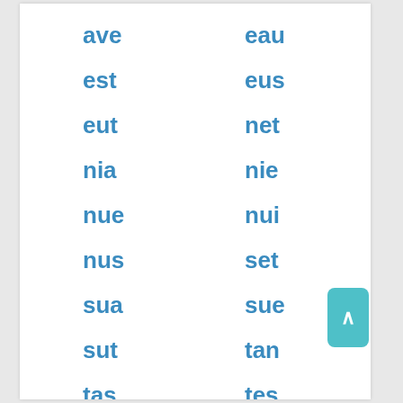ave
eau
est
eus
eut
net
nia
nie
nue
nui
nus
set
sua
sue
sut
tan
tas
tes
tua
tue
tus
une